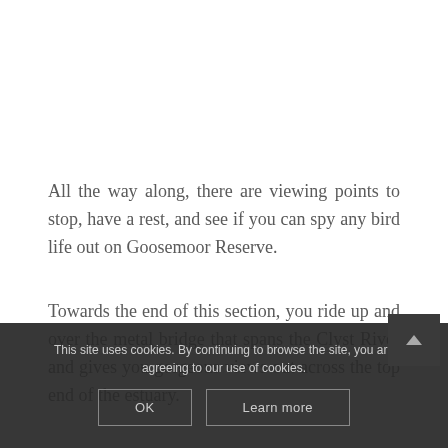All the way along, there are viewing points to stop, have a rest, and see if you can spy any bird life out on Goosemoor Reserve.
Towards the end of this section, you ride up and over the metal bridge that spans the Clyst River and gives you gorgeous views out across the top end of the estuary.
This site uses cookies. By continuing to browse the site, you are agreeing to our use of cookies.